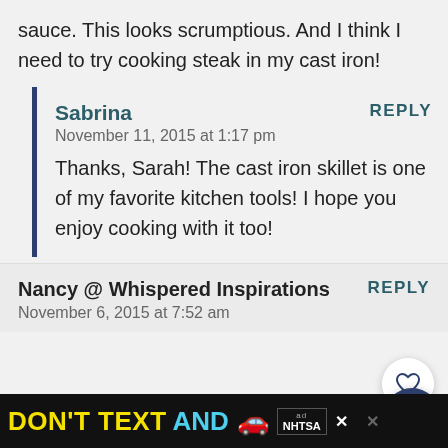sauce. This looks scrumptious. And I think I need to try cooking steak in my cast iron!
Sabrina
REPLY
November 11, 2015 at 1:17 pm
Thanks, Sarah! The cast iron skillet is one of my favorite kitchen tools! I hope you enjoy cooking with it too!
Nancy @ Whispered Inspirations
REPLY
November 6, 2015 at 7:52 am
[Figure (infographic): Advertisement banner: DON'T TEXT AND [car emoji] with NHTSA logo and close buttons]